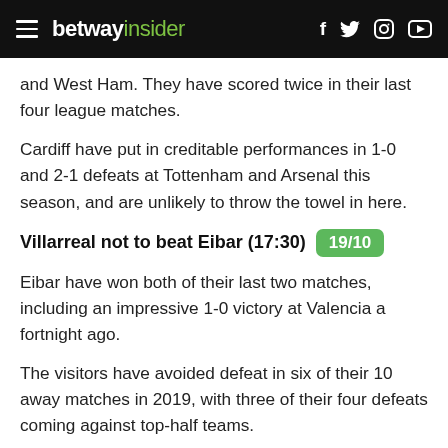betway insider
and West Ham. They have scored twice in their last four league matches.
Cardiff have put in creditable performances in 1-0 and 2-1 defeats at Tottenham and Arsenal this season, and are unlikely to throw the towel in here.
Villarreal not to beat Eibar (17:30) 19/10
Eibar have won both of their last two matches, including an impressive 1-0 victory at Valencia a fortnight ago.
The visitors have avoided defeat in six of their 10 away matches in 2019, with three of their four defeats coming against top-half teams.
Villarreal have won just three of their last 10 matches